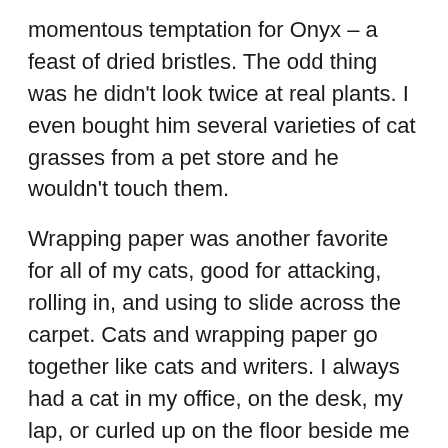momentous temptation for Onyx – a feast of dried bristles. The odd thing was he didn't look twice at real plants. I even bought him several varieties of cat grasses from a pet store and he wouldn't touch them.
Wrapping paper was another favorite for all of my cats, good for attacking, rolling in, and using to slide across the carpet. Cats and wrapping paper go together like cats and writers. I always had a cat in my office, on the desk, my lap, or curled up on the floor beside me when I was writing. Onyx was there for the creation of WEATHERING ROCK my paranormal / time travel romance about a Civil War colonel who is transported to the present where he falls for a woman who teaches American history.
For my part in the Purrrfectly Giftastic Christmas blog hop I'm awarding a $10 gift card to Amazon. If you're